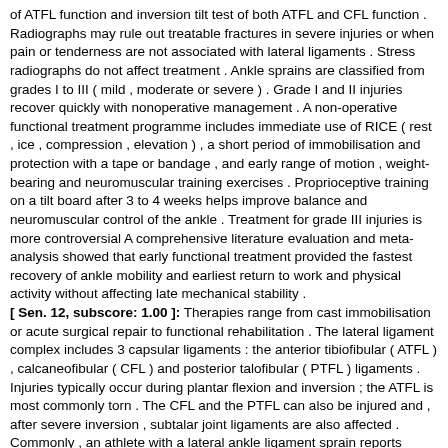of ATFL function and inversion tilt test of both ATFL and CFL function . Radiographs may rule out treatable fractures in severe injuries or when pain or tenderness are not associated with lateral ligaments . Stress radiographs do not affect treatment . Ankle sprains are classified from grades I to III ( mild , moderate or severe ) . Grade I and II injuries recover quickly with nonoperative management . A non-operative functional treatment programme includes immediate use of RICE ( rest , ice , compression , elevation ) , a short period of immobilisation and protection with a tape or bandage , and early range of motion , weight-bearing and neuromuscular training exercises . Proprioceptive training on a tilt board after 3 to 4 weeks helps improve balance and neuromuscular control of the ankle . Treatment for grade III injuries is more controversial A comprehensive literature evaluation and meta-analysis showed that early functional treatment provided the fastest recovery of ankle mobility and earliest return to work and physical activity without affecting late mechanical stability .
[ Sen. 12, subscore: 1.00 ]: Therapies range from cast immobilisation or acute surgical repair to functional rehabilitation . The lateral ligament complex includes 3 capsular ligaments : the anterior tibiofibular ( ATFL ) , calcaneofibular ( CFL ) and posterior talofibular ( PTFL ) ligaments . Injuries typically occur during plantar flexion and inversion ; the ATFL is most commonly torn . The CFL and the PTFL can also be injured and , after severe inversion , subtalar joint ligaments are also affected . Commonly , an athlete with a lateral ankle ligament sprain reports having rolled over the outside of their ankle . The entire ankle and foot must be examined to ensure there are no other injuries . Clinical stability tests for ligamentous disruption include the anterior drawer test of ATFL function and inversion tilt test of both ATFL and CFL function . Radiographs may rule out treatable fractures in severe injuries or when pain or tenderness are not associated with lateral ligaments . Stress radiographs do not